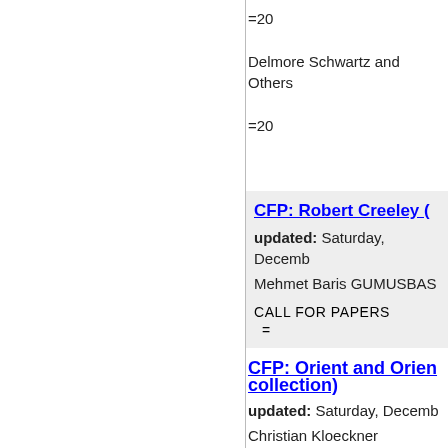=20
Delmore Schwartz and Others
=20
CFP: Robert Creeley (
updated: Saturday, Decemb
Mehmet Baris GUMUSBAS
CALL FOR PAPERS
=
CFP: Orient and Orien collection)
updated: Saturday, Decemb
Christian Kloeckner